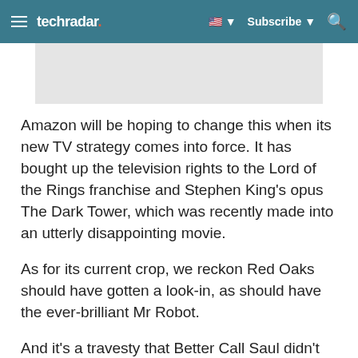techradar | Subscribe | Search
[Figure (other): Gray advertisement placeholder banner]
Amazon will be hoping to change this when its new TV strategy comes into force. It has bought up the television rights to the Lord of the Rings franchise and Stephen King's opus The Dark Tower, which was recently made into an utterly disappointing movie.
As for its current crop, we reckon Red Oaks should have gotten a look-in, as should have the ever-brilliant Mr Robot.
And it's a travesty that Better Call Saul didn't get anything in the Best International Show category,